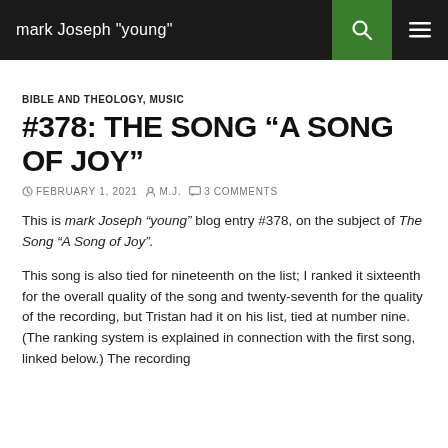mark Joseph "young"
BIBLE AND THEOLOGY, MUSIC
#378: THE SONG “A SONG OF JOY”
FEBRUARY 1, 2021   M.J.   3 COMMENTS
This is mark Joseph “young” blog entry #378, on the subject of The Song “A Song of Joy”.
This song is also tied for nineteenth on the list; I ranked it sixteenth for the overall quality of the song and twenty-seventh for the quality of the recording, but Tristan had it on his list, tied at number nine.  (The ranking system is explained in connection with the first song, linked below.)  The recording